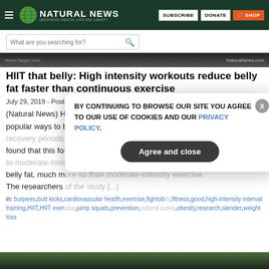NATURAL NEWS — DEFENDING HEALTH, LIFE AND LIBERTY | SUBSCRIBE | DONATE | SHOP
[Figure (screenshot): Search bar with placeholder text 'What are you searching for?']
[Figure (photo): Dark article banner with NewsTarget.com and NaturalNews.com watermarks]
HIIT that belly: High intensity workouts reduce belly fat faster than continuous exercise
July 29, 2019 - Posted by Stephanie Diaz
(Natural News) High-intensity interval training or HIIT is one of the most popular ways to burn fat. It involves intense bursts of activity and short recovery periods. A recent study found that this form of exercise reduces belly fat, much more so than low-to-moderate-intensity exercise. The researchers of the study [...]
in: burpees,butt kicks,cardiovascular health,exercise,fightobiity,fitness,good,high-intensity interval training,HIIT,HIIT exercise,jump squats,prevention,natural cures,obesity,research,slender,weight loss
BY CONTINUING TO BROWSE OUR SITE YOU AGREE TO OUR USE OF COOKIES AND OUR PRIVACY POLICY.
Agree and close